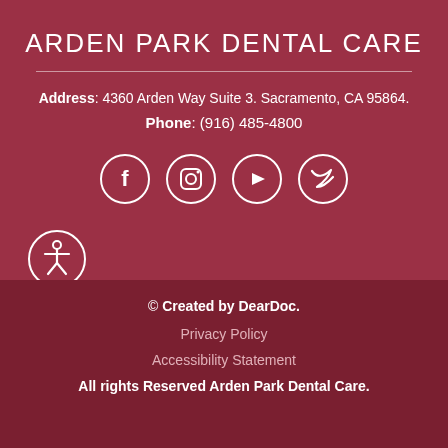ARDEN PARK DENTAL CARE
Address: 4360 Arden Way Suite 3. Sacramento, CA 95864.
Phone: (916) 485-4800
[Figure (illustration): Social media icons: Facebook, Instagram, YouTube, Twitter in white circles on dark red background]
[Figure (illustration): Accessibility icon (person with arms out) in white circle outline]
© Created by DearDoc.
Privacy Policy
Accessibility Statement
All rights Reserved Arden Park Dental Care.